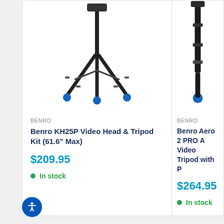[Figure (photo): Benro KH25P Video Head & Tripod Kit product photo - black tripod with blue feet tips]
BENRO
Benro KH25P Video Head & Tripod Kit (61.6" Max)
$209.95
In stock
[Figure (photo): Benro Aero 2 PRO A Video Tripod with P product photo - black tripod with blue feet]
BENRO
Benro Aero 2 PRO A Video Tripod with P
$264.95
In stock
You may also like
[Figure (photo): Small toy figure product thumbnail]
[Figure (photo): Small toy figure product thumbnail - partial view]